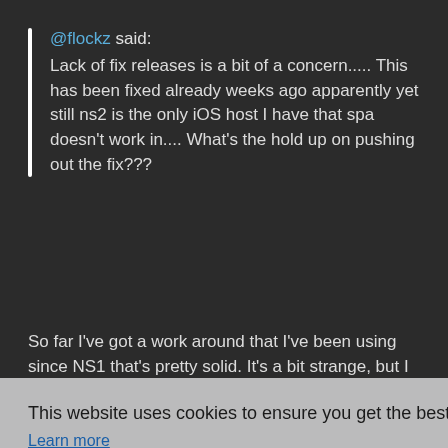@flockz said: Lack of fix releases is a bit of a concern..... This has been fixed already weeks ago apparently yet still ns2 is the only iOS host I have that spa doesn't work in.... What's the hold up on pushing out the fix???
So far I've got a work around that I've been using since NS1 that's pretty solid. It's a bit strange, but I open up
This website uses cookies to ensure you get the best experience on our website.
Learn more
Got it!
arp lines going on I can barely see straight.